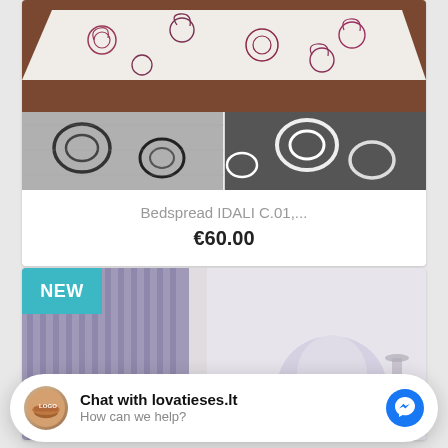[Figure (photo): Product card showing a bedspread IDALI C.01 with decorative swirl pattern, showing white/beige top and gray/dark bottom variants]
Bedspread IDALI C.01,...
€60.00
[Figure (photo): Second product card with NEW badge (teal/cyan), showing curtain/drape product in purple/lavender tones with room setting]
Chat with lovatieses.lt
How can we help?